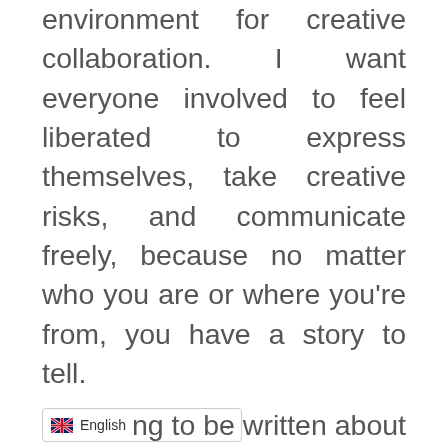environment for creative collaboration. I want everyone involved to feel liberated to express themselves, take creative risks, and communicate freely, because no matter who you are or where you're from, you have a story to tell.
What you're passionate about is what makes you unique, and there's a story in that just waiting to be told. If you've never thought about putting pen to paper (or hands to keyboard) and telling your story, now might just be the time. Even if you don't want to tell your story, there are so …ng to be written about